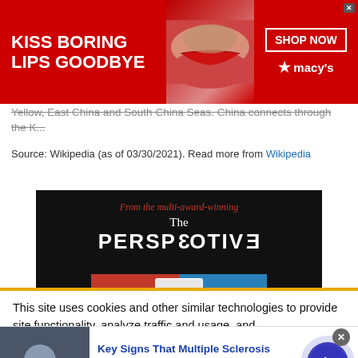[Figure (screenshot): Macy's advertisement banner: red background with 'KISS BORING LIPS GOODBYE' text on left, woman's face in center, 'SHOP NOW' box and Macy's logo on right]
Yellow, East China and South China Seas. China connects through the K...
Source: Wikipedia (as of 03/30/2021). Read more from Wikipedia
[Figure (screenshot): Advertisement for 'The Perspective' publication on dark background with red italic text 'From the multi-award-winning', white text 'The PERSPECTIVE' and publication imagery]
This site uses cookies and other similar technologies to provide site functionality, analyze traffic and usage, and
[Figure (screenshot): Bottom advertisement: Key Signs That Multiple Sclerosis Treatments with thumbnail image and navigation arrow]